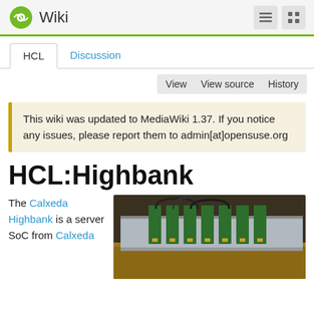Wiki
HCL | Discussion
View  View source  History
This wiki was updated to MediaWiki 1.37. If you notice any issues, please report them to admin[at]opensuse.org
HCL:Highbank
The Calxeda Highbank is a server SoC from Calxeda
[Figure (photo): Photo of Calxeda Highbank server hardware showing circuit boards in a rack]